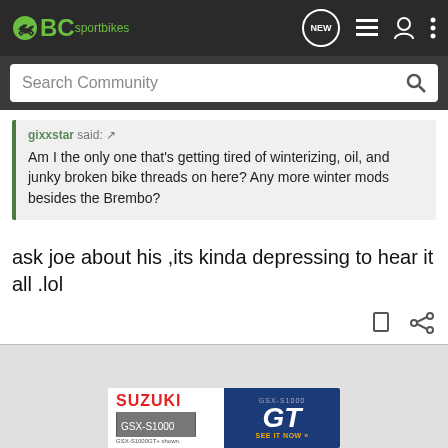[Figure (screenshot): BCsportbikes website navigation bar with green logo, NEW button, list icon, user icon, and more options icon]
Search Community
gixxstar said: ↗
Am I the only one that's getting tired of winterizing, oil, and junky broken bike threads on here? Any more winter mods besides the Brembo?
ask joe about his ,its kinda depressing to hear it all .lol
[Figure (logo): Suzuki GSX-S1000 GT advertisement banner with red Suzuki logo and blue GT panel]
GSX-S1000GT+ shown.